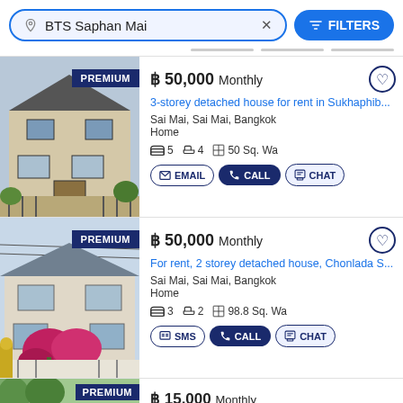BTS Saphan Mai × | FILTERS
[Figure (photo): 3-storey detached house exterior photo with PREMIUM badge]
฿ 50,000 Monthly
3-storey detached house for rent in Sukhaphib...
Sai Mai, Sai Mai, Bangkok
Home
Bed 5  Bath 4  50 Sq. Wa
EMAIL | CALL | CHAT
[Figure (photo): 2-storey detached house exterior with red flowering plants, PREMIUM badge]
฿ 50,000 Monthly
For rent, 2 storey detached house, Chonlada S...
Sai Mai, Sai Mai, Bangkok
Home
Bed 3  Bath 2  98.8 Sq. Wa
SMS | CALL | CHAT
[Figure (photo): Third listing partial view with PREMIUM badge]
฿ 15,000 Monthly